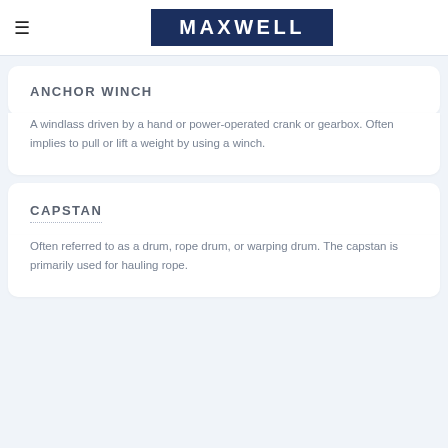MAXWELL
ANCHOR WINCH
A windlass driven by a hand or power-operated crank or gearbox. Often implies to pull or lift a weight by using a winch.
CAPSTAN
Often referred to as a drum, rope drum, or warping drum. The capstan is primarily used for hauling rope.